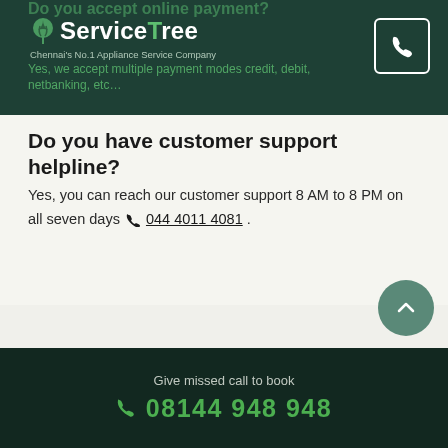ServiceTree — Chennai's No.1 Appliance Service Company
Do you have customer support helpline?
Yes, you can reach our customer support 8 AM to 8 PM on all seven days 044 4011 4081 .
Other Appliance Services in Kotturpuram
Give missed call to book 08144 948 948